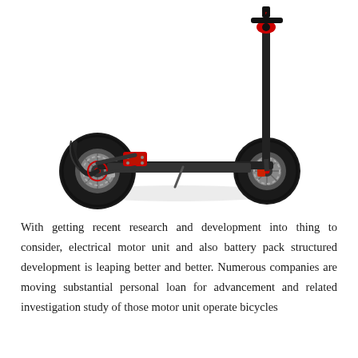[Figure (photo): Black electric scooter with two wheels, disc brakes, red accents, and folding handlebar stem, photographed from a three-quarter rear angle on a white background.]
With getting recent research and development into thing to consider, electrical motor unit and also battery pack structured development is leaping better and better. Numerous companies are moving substantial personal loan for advancement and related investigation study of those motor unit operate bicycles